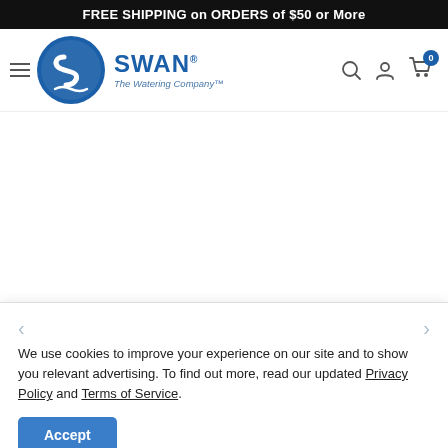FREE SHIPPING on ORDERS of $50 or More
[Figure (logo): Swan The Watering Company logo with circular blue emblem and navigation icons (search, account, cart with 0 badge)]
We use cookies to improve your experience on our site and to show you relevant advertising. To find out more, read our updated Privacy Policy and Terms of Service.